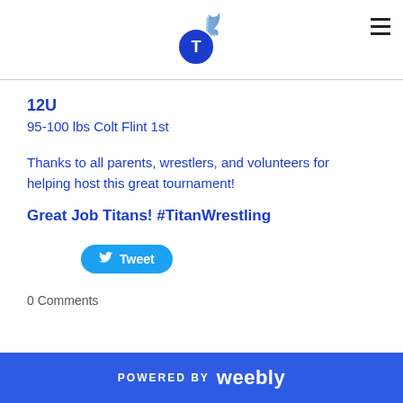Titans Wrestling Logo
12U
95-100 lbs Colt Flint 1st
Thanks to all parents, wrestlers, and volunteers for helping host this great tournament!
Great Job Titans! #TitanWrestling
Tweet
0 Comments
POWERED BY weebly